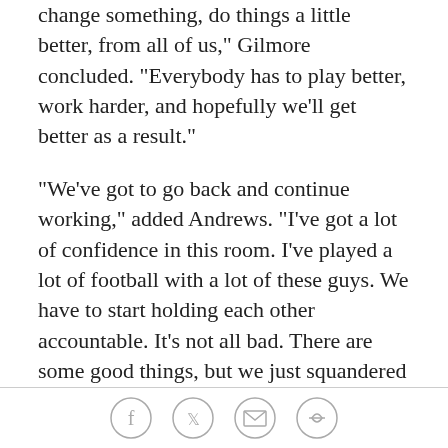change something, do things a little better, from all of us," Gilmore concluded. "Everybody has to play better, work harder, and hopefully we'll get better as a result."
"We've got to go back and continue working," added Andrews. "I've got a lot of confidence in this room. I've played a lot of football with a lot of these guys. We have to start holding each other accountable. It's not all bad. There are some good things, but we just squandered away opportunities. You can't do that and win games in this league. I have confidence in this team. We have the tools to win. But if you don't execute, it doesn't matter what you've got."
"The message after the game was, 'We all have a lot to work on,'" Stidham revealed. "We all have a lot to work really hard on to get better to improve, and then that's
[social icons: facebook, twitter, email, link]